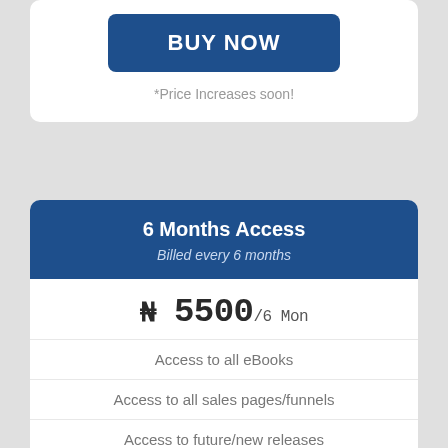BUY NOW
*Price Increases soon!
6 Months Access
Billed every 6 months
₦ 5500/6 Mon
Access to all eBooks
Access to all sales pages/funnels
Access to future/new releases
10 Downloads per month
Cancel Anytime